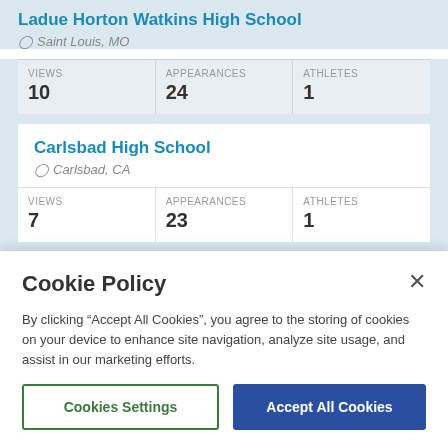Ladue Horton Watkins High School
Saint Louis, MO
| VIEWS | APPEARANCES | ATHLETES |
| --- | --- | --- |
| 10 | 24 | 1 |
Carlsbad High School
Carlsbad, CA
| VIEWS | APPEARANCES | ATHLETES |
| --- | --- | --- |
| 7 | 23 | 1 |
Cookie Policy
By clicking “Accept All Cookies”, you agree to the storing of cookies on your device to enhance site navigation, analyze site usage, and assist in our marketing efforts.
Cookies Settings
Accept All Cookies